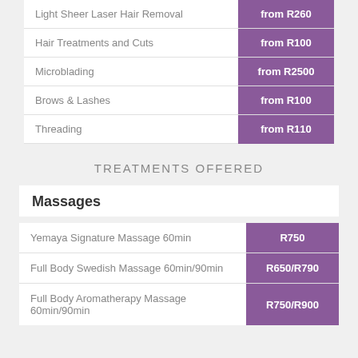| Service | Price |
| --- | --- |
| Light Sheer Laser Hair Removal | from R260 |
| Hair Treatments and Cuts | from R100 |
| Microblading | from R2500 |
| Brows & Lashes | from R100 |
| Threading | from R110 |
TREATMENTS OFFERED
Massages
| Service | Price |
| --- | --- |
| Yemaya Signature Massage 60min | R750 |
| Full Body Swedish Massage 60min/90min | R650/R790 |
| Full Body Aromatherapy Massage 60min/90min | R750/R900 |